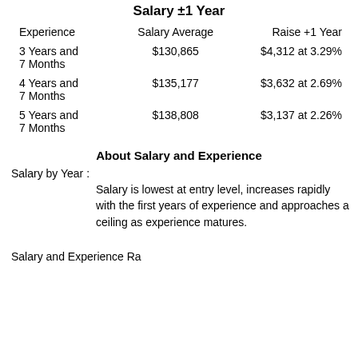Salary ±1 Year
| Experience | Salary Average | Raise +1 Year |
| --- | --- | --- |
| 3 Years and 7 Months | $130,865 | $4,312 at 3.29% |
| 4 Years and 7 Months | $135,177 | $3,632 at 2.69% |
| 5 Years and 7 Months | $138,808 | $3,137 at 2.26% |
About Salary and Experience
Salary by Year :
Salary is lowest at entry level, increases rapidly with the first years of experience and approaches a ceiling as experience matures.
Salary and Experience Range :